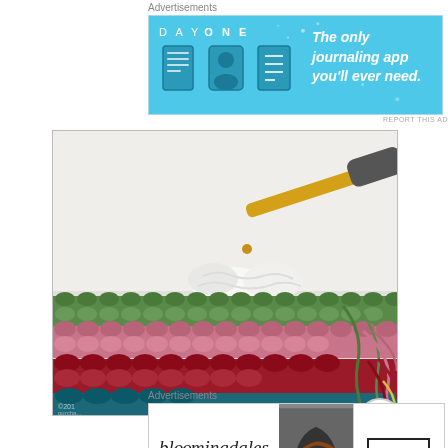Advertisements
[Figure (illustration): Day One journaling app advertisement banner with blue background, app icons, and text 'The only journaling app you'll ever need.']
REPORT THIS AD
[Figure (photo): Close-up photo of colorful crochet work in progress with a gold and gray crochet hook. Colors include white, green, pink, red/burgundy, and teal stripes.]
Advertisements
[Figure (illustration): Bloomingdales advertisement banner with logo, woman in hat image, and 'SHOP NOW >' button. Text: 'View Today's Top Deals!']
REPORT THIS AD